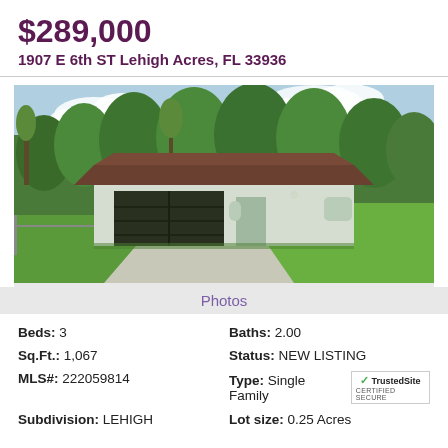$289,000
1907 E 6th ST Lehigh Acres, FL 33936
[Figure (photo): Exterior photo of a single-family home with a brown roof, two-car garage with dark doors, white/light green stucco walls, concrete driveway, and large grassy yard with trees in background.]
Photos
Beds: 3    Baths: 2.00    Sq.Ft.: 1,067    Status: NEW LISTING    MLS#: 222059814    Type: Single Family    Subdivision: LEHIGH    Lot size: 0.25 Acres